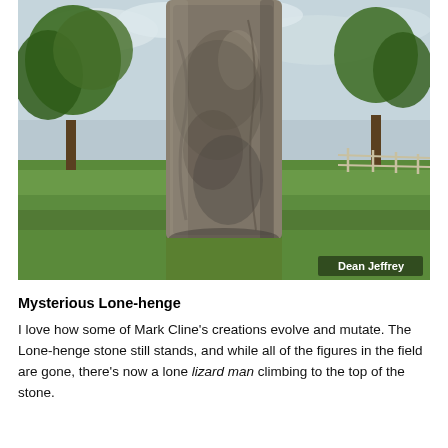[Figure (photo): A large standing stone (megalith) photographed in a green grassy field with trees in the background and a cloudy sky. The stone is tall and weathered with grey and brown textures. A watermark 'Dean Jeffrey' appears in the bottom-right corner of the photo.]
Mysterious Lone-henge
I love how some of Mark Cline's creations evolve and mutate. The Lone-henge stone still stands, and while all of the figures in the field are gone, there's now a lone lizard man climbing to the top of the stone.